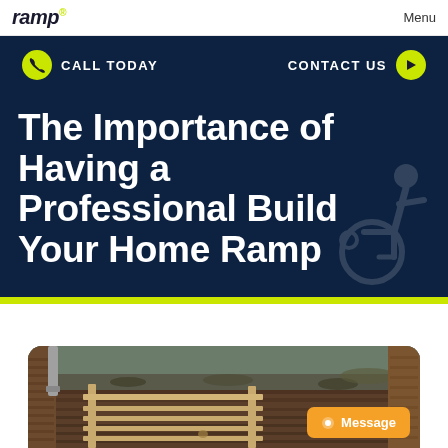ramp | Menu
CALL TODAY   CONTACT US
The Importance of Having a Professional Build Your Home Ramp
[Figure (photo): A wooden home ramp under construction, showing planks and support beams with outdoor surroundings]
Message